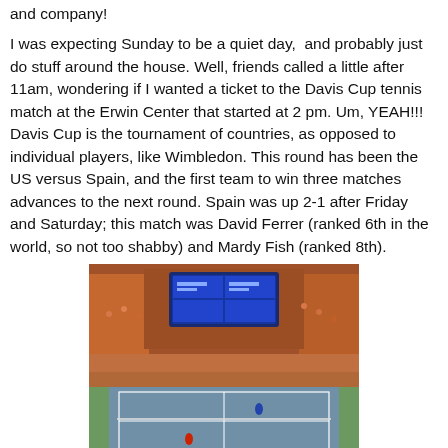and company!
I was expecting Sunday to be a quiet day,  and probably just do stuff around the house. Well, friends called a little after 11am, wondering if I wanted a ticket to the Davis Cup tennis match at the Erwin Center that started at 2 pm. Um, YEAH!!! Davis Cup is the tournament of countries, as opposed to individual players, like Wimbledon. This round has been the US versus Spain, and the first team to win three matches advances to the next round. Spain was up 2-1 after Friday and Saturday; this match was David Ferrer (ranked 6th in the world, so not too shabby) and Mardy Fish (ranked 8th).
[Figure (photo): Aerial view of an indoor tennis arena packed with spectators. A large scoreboard hangs from the ceiling showing match scores. The tennis court is visible in the lower portion of the image with players on it. The arena appears to be the Erwin Center during a Davis Cup match.]